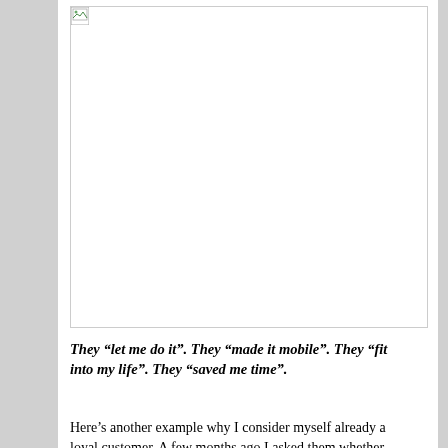[Figure (photo): A large image placeholder with a broken image icon in the top-left corner, white background with border.]
They “let me do it”. They “made it mobile”. They “fit into my life”. They “saved me time”.
Here’s another example why I consider myself already a loyal customer. A few months ago I asked them whether